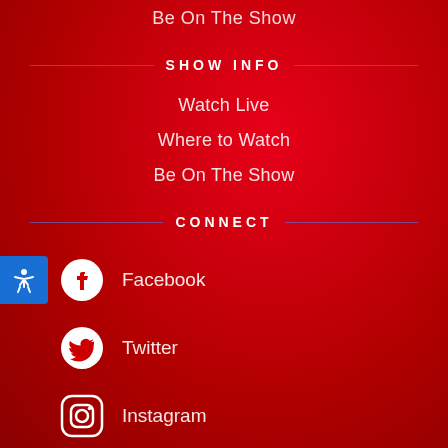Be On The Show
SHOW INFO
Watch Live
Where to Watch
Be On The Show
CONNECT
Facebook
Twitter
Instagram